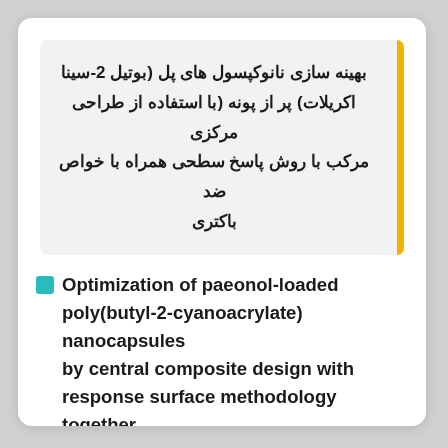بهینه سازی نانوکپسول های پل (بوتیل 2-سینا اکریلات) پر از پونه (با استفاده از طراحی مرکزی مرکب با روش پاسخ سطحی همراه با خواص ضد باکتری
Optimization of paeonol-loaded poly(butyl-2-cyanoacrylate) nanocapsules by central composite design with response surface methodology together with the antibacterial properties
Keywords: نانوکپسول; Paeonol; Nanocapsules; Optimization; Central composite design;